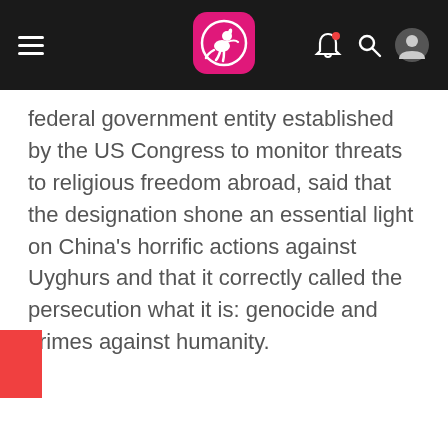Navigation bar with hamburger menu, kangaroo logo, bell icon, search icon, and user icon
federal government entity established by the US Congress to monitor threats to religious freedom abroad, said that the designation shone an essential light on China's horrific actions against Uyghurs and that it correctly called the persecution what it is: genocide and crimes against humanity.